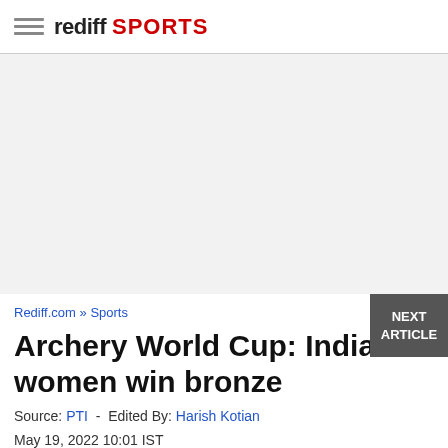rediff SPORTS
[Figure (other): Advertisement / gray placeholder area]
Rediff.com » Sports
Archery World Cup: India women win bronze
Source: PTI  -  Edited By: Harish Kotian
May 19, 2022 10:01 IST